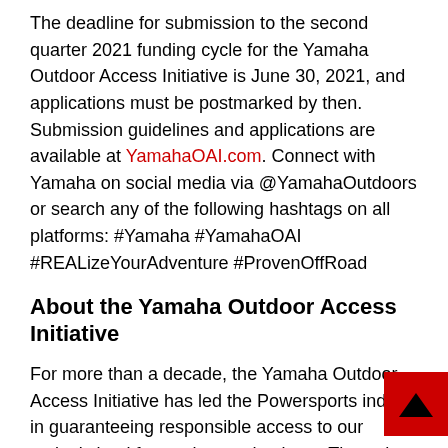The deadline for submission to the second quarter 2021 funding cycle for the Yamaha Outdoor Access Initiative is June 30, 2021, and applications must be postmarked by then. Submission guidelines and applications are available at YamahaOAI.com. Connect with Yamaha on social media via @YamahaOutdoors or search any of the following hashtags on all platforms: #Yamaha #YamahaOAI #REALizeYourAdventure #ProvenOffRoad
About the Yamaha Outdoor Access Initiative
For more than a decade, the Yamaha Outdoor Access Initiative has led the Powersports industry in guaranteeing responsible access to our nation's land for outdoor enthusiasts. Through this program, Yamaha has directly and indirectly supported thousands of miles of motorized recreation trails, maintained and rehabilitated riding and hunting areas, improved staging areas, supplied agricultural organizations with essential OHV safety education, built bridges over fish-bearing streams and partnered with local